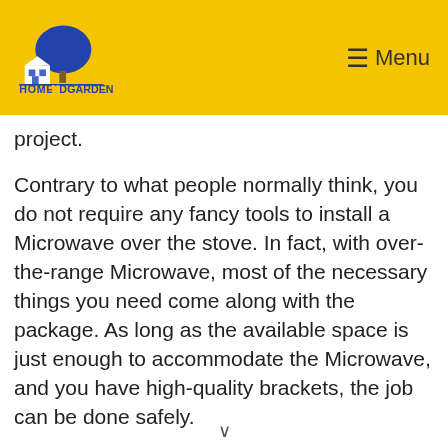HomeNDGarden — Menu
project.
Contrary to what people normally think, you do not require any fancy tools to install a Microwave over the stove. In fact, with over-the-range Microwave, most of the necessary things you need come along with the package. As long as the available space is just enough to accommodate the Microwave, and you have high-quality brackets, the job can be done safely.